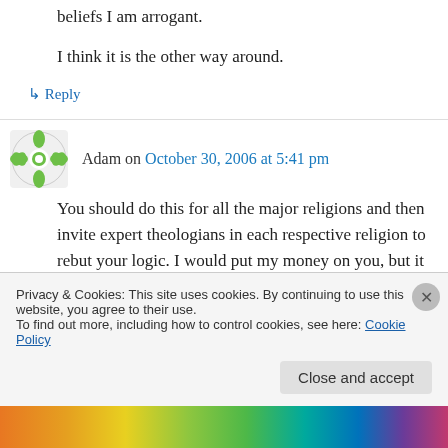beliefs I am arrogant.
I think it is the other way around.
↳ Reply
Adam on October 30, 2006 at 5:41 pm
You should do this for all the major religions and then invite expert theologians in each respective religion to rebut your logic. I would put my money on you, but it would be interesting. I have
Privacy & Cookies: This site uses cookies. By continuing to use this website, you agree to their use.
To find out more, including how to control cookies, see here: Cookie Policy
Close and accept